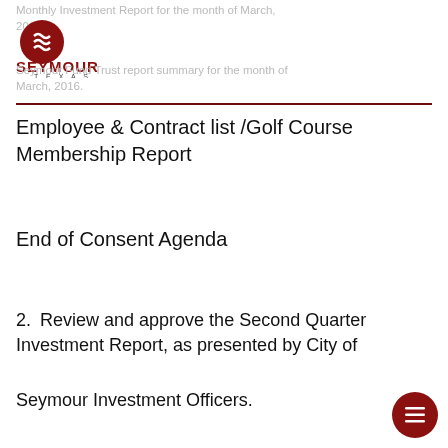Monthly Investment Report for the month of March, 2016. Seymour Texas logo. Seymour Fund Trust report summary for the month of March, 2016.
Employee & Contract list /Golf Course Membership Report
End of Consent Agenda
2. Review and approve the Second Quarter Investment Report, as presented by City of
Seymour Investment Officers.